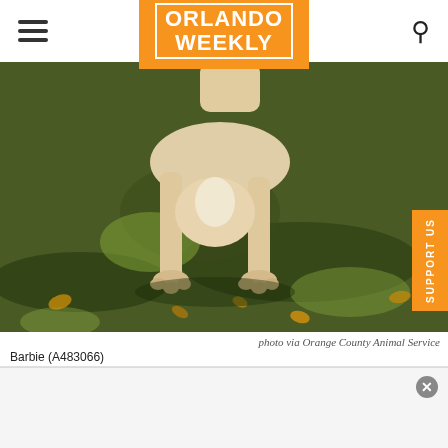ORLANDO WEEKLY
[Figure (photo): A dog (Barbie A483066) crouched on grass with dappled sunlight and fallen leaves, photo via Orange County Animal Services]
photo via Orange County Animal Service
Barbie (A483066)
Orange County Animal Services is asking for community support. The animal shelter says they are at capacity with more than 700 animals under their care.